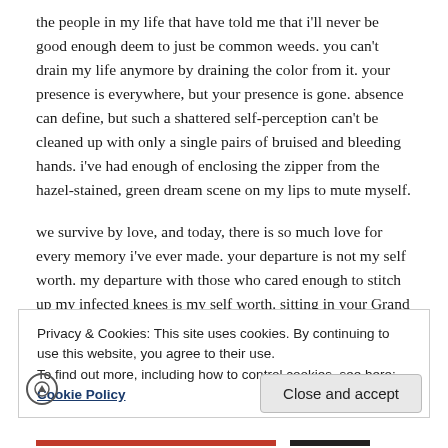the people in my life that have told me that i'll never be good enough deem to just be common weeds. you can't drain my life anymore by draining the color from it. your presence is everywhere, but your presence is gone. absence can define, but such a shattered self-perception can't be cleaned up with only a single pairs of bruised and bleeding hands. i've had enough of enclosing the zipper from the hazel-stained, green dream scene on my lips to mute myself.
we survive by love, and today, there is so much love for every memory i've ever made. your departure is not my self worth. my departure with those who cared enough to stitch up my infected knees is my self worth. sitting in your Grand Prix before Elm talking about potential and wiping the blood off of blades.
Privacy & Cookies: This site uses cookies. By continuing to use this website, you agree to their use.
To find out more, including how to control cookies, see here: Cookie Policy
Close and accept